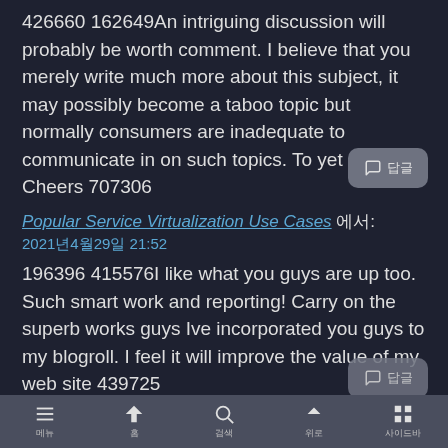426660 162649An intriguing discussion will probably be worth comment. I believe that you merely write much more about this subject, it may possibly become a taboo topic but normally consumers are inadequate to communicate in on such topics. To yet another. Cheers 707306
Popular Service Virtualization Use Cases 에서: 2021년4월29일 21:52
196396 415576I like what you guys are up too. Such smart work and reporting! Carry on the superb works guys Ive incorporated you guys to my blogroll. I feel it will improve the value of my web site 439725
메뉴 홈 검색 위로 사이드바